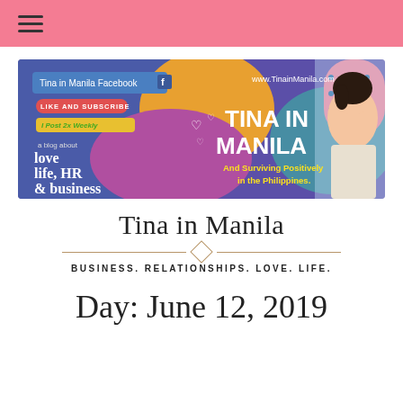≡
[Figure (illustration): Tina in Manila blog banner with colorful background, text: Tina in Manila Facebook, Like and Subscribe, I Post 2x Weekly, a blog about love life HR & business, www.TinainManila.com, TINA IN MANILA, And Surviving Positively in the Philippines. A smiling woman on the right side.]
Tina in Manila
BUSINESS. RELATIONSHIPS. LOVE. LIFE.
Day: June 12, 2019